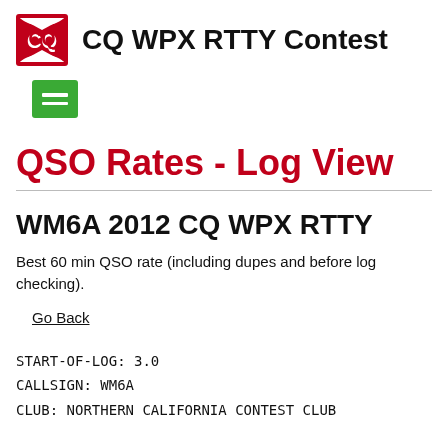CQ WPX RTTY Contest
QSO Rates - Log View
WM6A 2012 CQ WPX RTTY
Best 60 min QSO rate (including dupes and before log checking).
Go Back
START-OF-LOG: 3.0
CALLSIGN: WM6A
CLUB: NORTHERN CALIFORNIA CONTEST CLUB